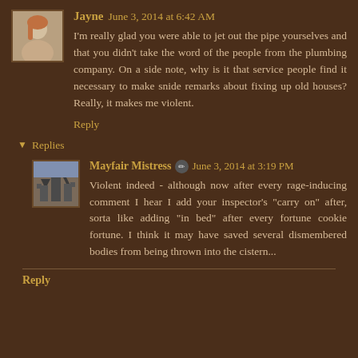Jayne  June 3, 2014 at 6:42 AM
I'm really glad you were able to jet out the pipe yourselves and that you didn't take the word of the people from the plumbing company. On a side note, why is it that service people find it necessary to make snide remarks about fixing up old houses? Really, it makes me violent.
Reply
Replies
Mayfair Mistress  June 3, 2014 at 3:19 PM
Violent indeed - although now after every rage-inducing comment I hear I add your inspector's "carry on" after, sorta like adding "in bed" after every fortune cookie fortune. I think it may have saved several dismembered bodies from being thrown into the cistern...
Reply